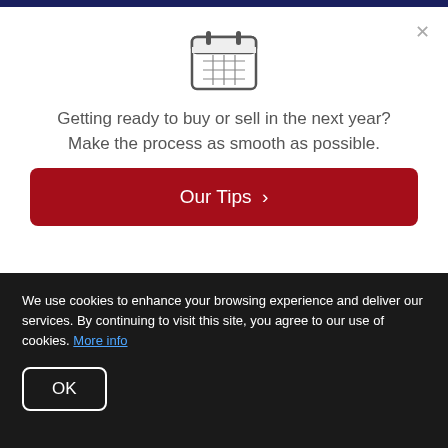[Figure (illustration): Calendar icon with grid lines representing dates]
Getting ready to buy or sell in the next year? Make the process as smooth as possible.
Our Tips >
Any unauthorized use of any Content or the Site may violate patent, copyright, trademark, and other laws.
We use cookies to enhance your browsing experience and deliver our services. By continuing to visit this site, you agree to our use of cookies. More info
OK